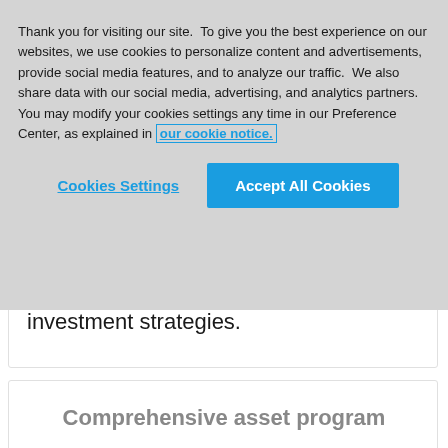Thank you for visiting our site.  To give you the best experience on our websites, we use cookies to personalize content and advertisements, provide social media features, and to analyze our traffic.  We also share data with our social media, advertising, and analytics partners.  You may modify your cookies settings any time in our Preference Center, as explained in our cookie notice.
Cookies Settings
Accept All Cookies
investment strategies.
Comprehensive asset program